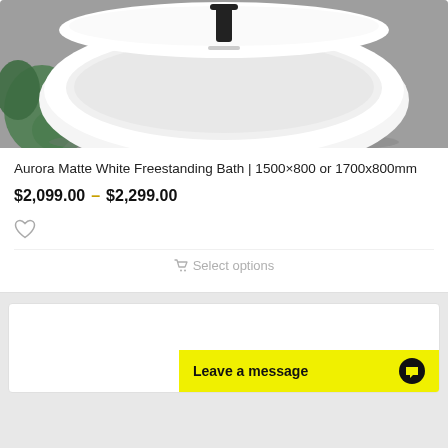[Figure (photo): White freestanding oval bathtub with black faucet on grey background with green plant on left side]
Aurora Matte White Freestanding Bath | 1500×800 or 1700x800mm
$2,099.00 – $2,299.00
[Figure (other): Heart/wishlist icon]
Select options
[Figure (other): Second product card partially visible at bottom]
Leave a message